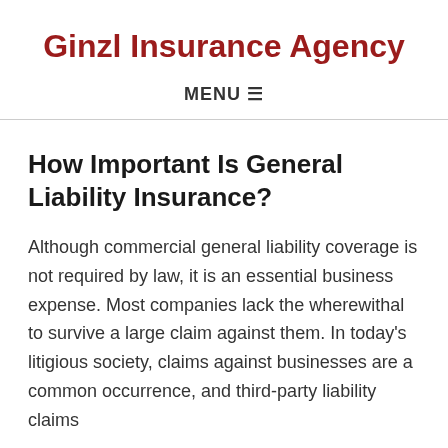Ginzl Insurance Agency
MENU ≡
How Important Is General Liability Insurance?
Although commercial general liability coverage is not required by law, it is an essential business expense. Most companies lack the wherewithal to survive a large claim against them. In today's litigious society, claims against businesses are a common occurrence, and third-party liability claims